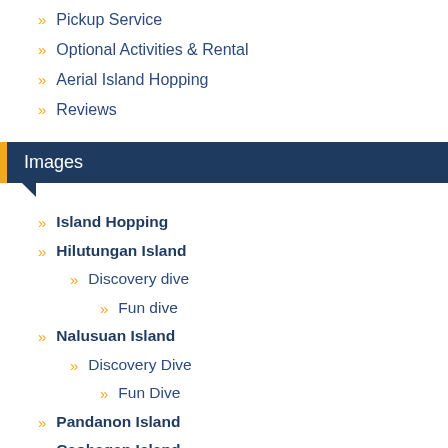Pickup Service
Optional Activities & Rental
Aerial Island Hopping
Reviews
Images
Island Hopping
Hilutungan Island
Discovery dive
Fun dive
Nalusuan Island
Discovery Dive
Fun Dive
Pandanon Island
Caohagan Island
Sandbar
Olango Island